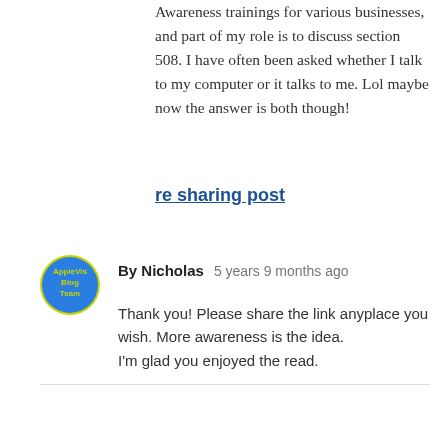Awareness trainings for various businesses, and part of my role is to discuss section 508. I have often been asked whether I talk to my computer or it talks to me. Lol maybe now the answer is both though!
re sharing post
By Nicholas   5 years 9 months ago
Thank you! Please share the link anyplace you wish. More awareness is the idea.
I'm glad you enjoyed the read.